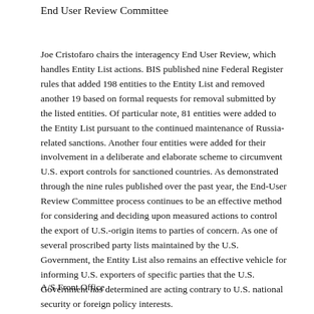End User Review Committee
Joe Cristofaro chairs the interagency End User Review, which handles Entity List actions. BIS published nine Federal Register rules that added 198 entities to the Entity List and removed another 19 based on formal requests for removal submitted by the listed entities. Of particular note, 81 entities were added to the Entity List pursuant to the continued maintenance of Russia-related sanctions. Another four entities were added for their involvement in a deliberate and elaborate scheme to circumvent U.S. export controls for sanctioned countries. As demonstrated through the nine rules published over the past year, the End-User Review Committee process continues to be an effective method for considering and deciding upon measured actions to control the export of U.S.-origin items to parties of concern. As one of several proscribed party lists maintained by the U.S. Government, the Entity List also remains an effective vehicle for informing U.S. exporters of specific parties that the U.S. Government has determined are acting contrary to U.S. national security or foreign policy interests.
A/S Front Office